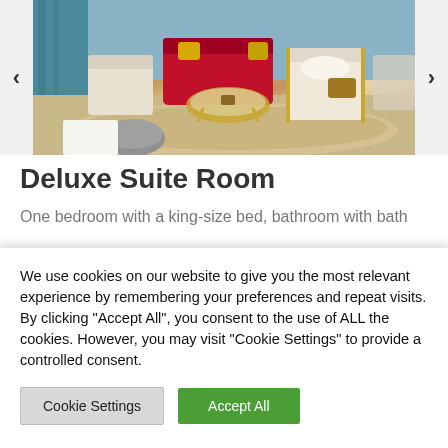[Figure (photo): Hotel deluxe suite room interior showing red sofa, white armchairs with gold accents, gold-trimmed glass coffee table, patterned rug, and teal curtains. Navigation arrows on left and right sides.]
Deluxe Suite Room
One bedroom with a king-size bed, bathroom with bath
We use cookies on our website to give you the most relevant experience by remembering your preferences and repeat visits. By clicking "Accept All", you consent to the use of ALL the cookies. However, you may visit "Cookie Settings" to provide a controlled consent.
Cookie Settings | Accept All